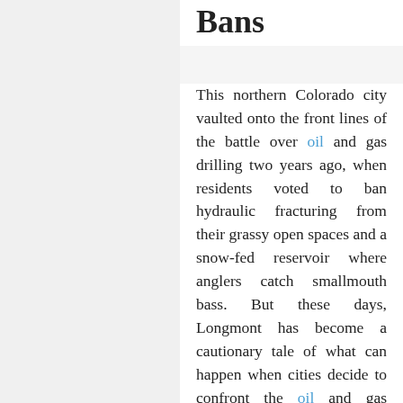…Local Fracking Bans
This northern Colorado city vaulted onto the front lines of the battle over oil and gas drilling two years ago, when residents voted to ban hydraulic fracturing from their grassy open spaces and a snow-fed reservoir where anglers catch smallmouth bass. But these days, Longmont has become a cautionary tale of what can happen when cities decide to confront the oil and gas industry. In an aggressive response to a wave of citizen-led drilling bans, state